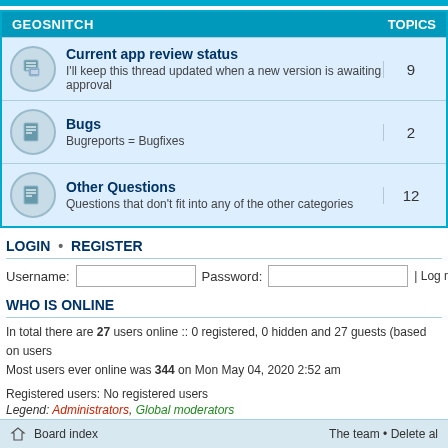GEOSNITCH
Current app review status - I'll keep this thread updated when a new version is awaiting approval - TOPICS: 9
Bugs - Bugreports = Bugfixes - TOPICS: 2
Other Questions - Questions that don't fit into any of the other categories - TOPICS: 12
LOGIN • REGISTER
Username: [input] Password: [input] | Log me on autom
WHO IS ONLINE
In total there are 27 users online :: 0 registered, 0 hidden and 27 guests (based on users
Most users ever online was 344 on Mon May 04, 2020 2:52 am
Registered users: No registered users
Legend: Administrators, Global moderators
STATISTICS
Total posts 12369 • Total topics 2486 • Total members 2289 • Our newest member JWin
Board index    The team • Delete al